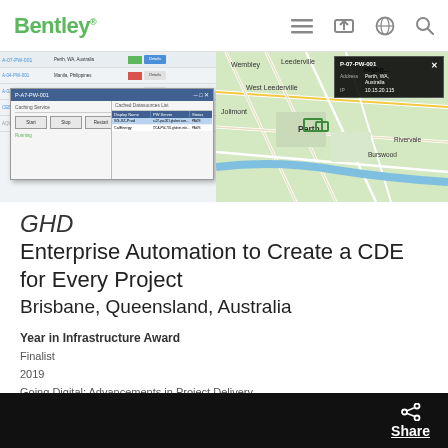Bentley — navigation bar with menu, share, globe, and search icons
[Figure (screenshot): Screenshot of a project management software interface showing a table of project IDs and locations with green/red/blue status indicators, a dialog box titled P-A7-PW-001 with caching services controls and a cached datasources list, and a map view of Perth, WA, Australia with a popup showing address Perth, WA, Australia and IP 10.15.20.115]
GHD
Enterprise Automation to Create a CDE for Every Project
Brisbane, Queensland, Australia
Year in Infrastructure Award
Finalist
2019
Going Digital: Advancements in Project Delivery
[Figure (screenshot): Dark video player area with Share button and share icon in bottom right corner]